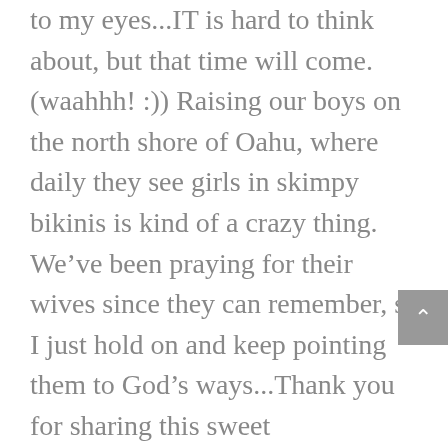to my eyes...IT is hard to think about, but that time will come. (waahhh! :)) Raising our boys on the north shore of Oahu, where daily they see girls in skimpy bikinis is kind of a crazy thing. We’ve been praying for their wives since they can remember, so I just hold on and keep pointing them to God’s ways...Thank you for sharing this sweet